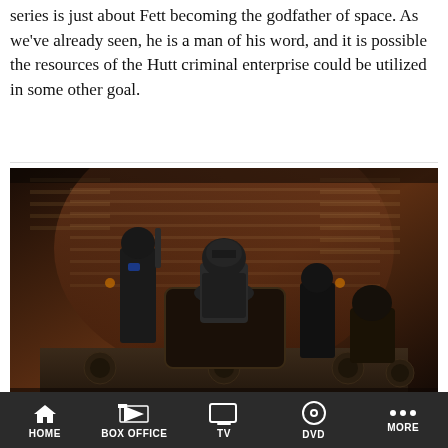series is just about Fett becoming the godfather of space. As we've already seen, he is a man of his word, and it is possible the resources of the Hutt criminal enterprise could be utilized in some other goal.
[Figure (photo): Scene from The Book of Boba Fett showing armored characters in a dark throne room setting with dramatic lighting from slatted windows. A figure in Mandalorian-style armor sits on a throne with associates standing nearby.]
(Photo by © 2020 Lucasfilm Ltd. & ™. All Rights Reserved.)
HOME  BOX OFFICE  TV  DVD  MORE